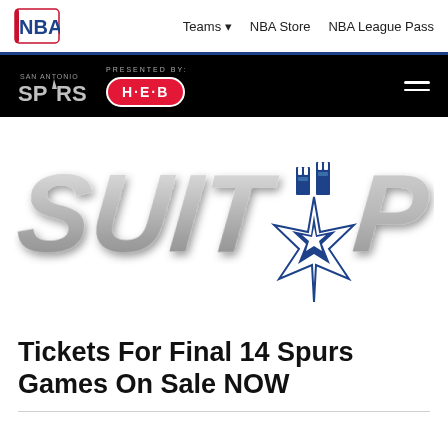NBA   Teams   NBA Store   NBA League Pass
SAN ANTONIO SPURS   PRESENTED BY: H·E·B
[Figure (logo): SUIT UP San Antonio Spurs logo graphic — metallic silver 3D text reading SUIT UP with the Spurs spur logo replacing the letter U in UP]
Tickets For Final 14 Spurs Games On Sale NOW